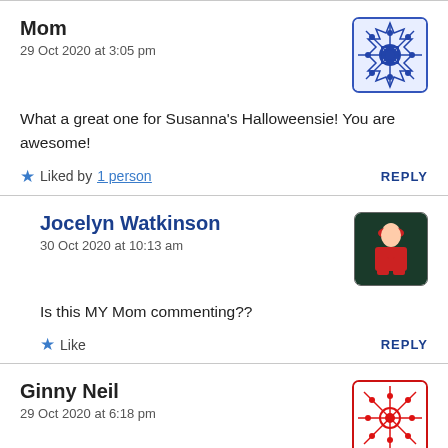Mom
29 Oct 2020 at 3:05 pm
What a great one for Susanna's Halloweensie! You are awesome!
★ Liked by 1 person   REPLY
Jocelyn Watkinson
30 Oct 2020 at 10:13 am
Is this MY Mom commenting??
★ Like   REPLY
Ginny Neil
29 Oct 2020 at 6:18 pm
Too funny! And scary!